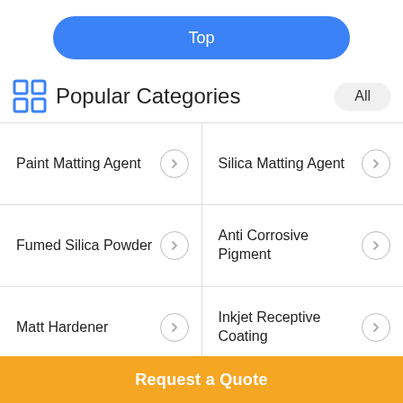Top
Popular Categories
| Paint Matting Agent | Silica Matting Agent |
| Fumed Silica Powder | Anti Corrosive Pigment |
| Matt Hardener | Inkjet Receptive Coating |
| Precipitated Silicon Dioxide | Zinc Stearate Powder |
Request a Quote